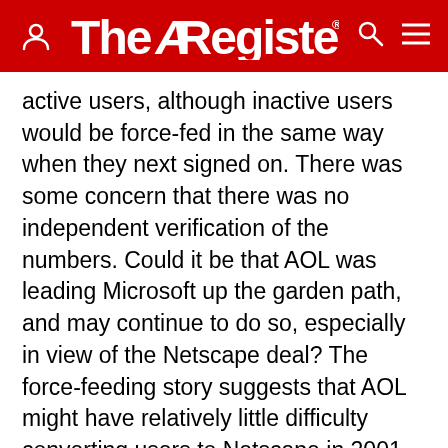The Register
active users, although inactive users would be force-fed in the same way when they next signed on. There was some concern that there was no independent verification of the numbers. Could it be that AOL was leading Microsoft up the garden path, and may continue to do so, especially in view of the Netscape deal? The force-feeding story suggests that AOL might have relatively little difficulty converting users to Netscape in 2001, when the new contract between AOL and Microsoft expires. AOL distinguished three kinds of force feeding, depending on the importance. At sign-on, updates would be for things like security patches; during use, there were conditional patches, with updates of what the user needed for access; and sign-